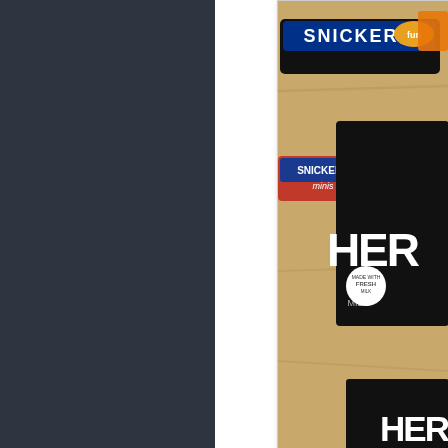[Figure (photo): Photo of candy bars on a wooden surface: Snickers Fun Size, Snickers Minis, and Hershey's Milk Chocolate bars (full-size, fun-size, and mini-size)]
Full-Size, Fun-Size, and Mini-Size. (
Of course, over the years, full-sized cand the same thing has happened to "Snack S the name of these smaller bars from "Sna big enough to be considered a snack any bars are now only about one-fourth the si them. "Fun Size" is fun!
[Figure (photo): Second photo of candy bar on wooden surface, partially visible at bottom of page]